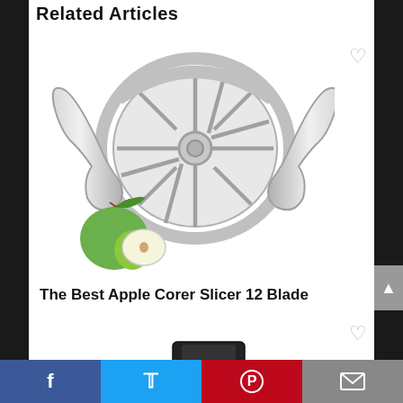Related Articles
[Figure (photo): A stainless steel apple corer slicer with 12 blades arranged radially, with two ergonomic handles on either side. A green apple with a leaf and a sliced piece is shown in the lower left corner.]
The Best Apple Corer Slicer 12 Blade
[Figure (photo): Partial view of a dark/black kitchen appliance at the bottom of the page.]
Facebook  Twitter  Pinterest  Email